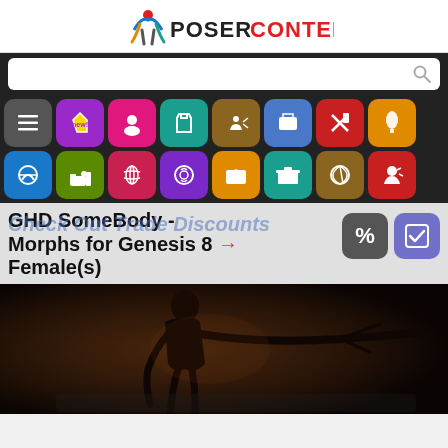[Figure (logo): PoserContent logo with stylized figure icon and POSERCONTENT text in black and red]
[Figure (screenshot): Navigation icon grid with colorful category buttons: list, new, character, bag, action, clothing, tools, light, paint, truck, cat, smiley, film, building, history, reader]
GHD SomeBody - Morphs for Genesis 8 Female(s)
[Figure (photo): Dark dramatic photo of a female silhouette in a dance/action pose against dark background]